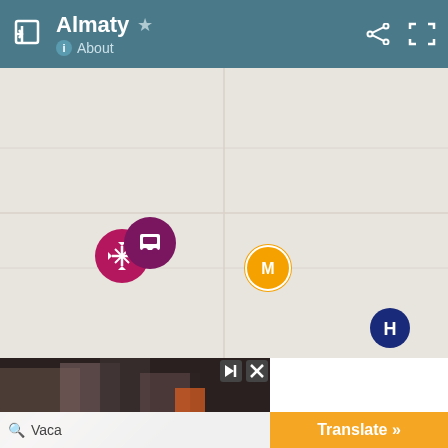Almaty — About
[Figure (map): Map view of Almaty showing location markers: a pink/crimson cluster marker with collapse icon, a purple marker with transit icon, an orange circular marker with 'M' (metro) icon in the center of the map, and a dark blue circular marker with a 'H' icon at lower right.]
[Figure (screenshot): Advertisement banner at bottom showing a dark image on the left with a search bar labeled 'Vaca', and an orange 'Translate »' button on the right with skip/close icons.]